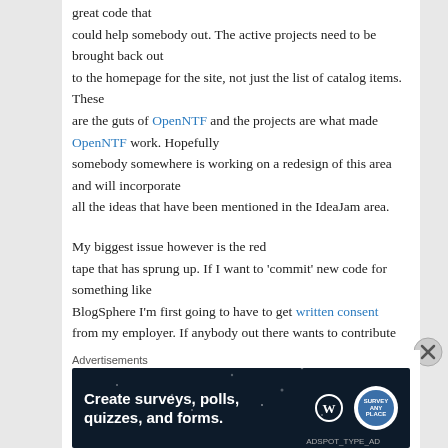great code that could help somebody out. The active projects need to be brought back out to the homepage for the site, not just the list of catalog items. These are the guts of OpenNTF and the projects are what made OpenNTF work. Hopefully somebody somewhere is working on a redesign of this area and will incorporate all the ideas that have been mentioned in the IdeaJam area.

My biggest issue however is the red tape that has sprung up. If I want to 'commit' new code for something like BlogSphere I'm first going to have to get written consent from my employer. If anybody out there wants to contribute some code for Blogsphere to me then I'm going to have to do my own due
Advertisements
[Figure (infographic): Dark blue advertisement banner reading 'Create surveys, polls, quizzes, and forms.' with WordPress and Survey Anyplace logos]